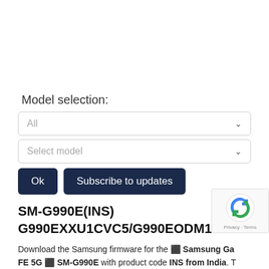Model selection:
[Figure (screenshot): Dropdown selector showing 'All' with chevron]
[Figure (screenshot): Dropdown selector showing 'Select model' with chevron]
Ok
Subscribe to updates
SM-G990E(INS) G990EXXU1CVC5/G990EODM1CVC5/G990EXXU
Download the Samsung firmware for the 🔲 Samsung Galaxy FE 5G 🔲 SM-G990E with product code INS from India. The firmware has version number PDA G990EXXU1CVC5 and CSC